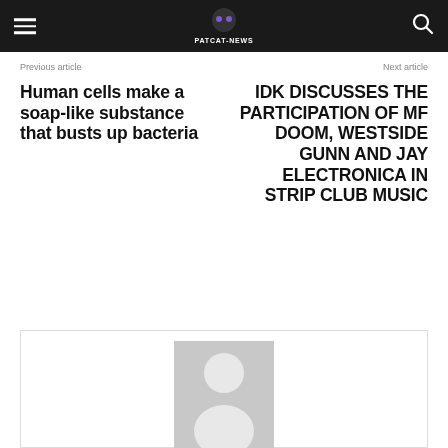PATCAT NEWS
Previous article
Next article
Human cells make a soap-like substance that busts up bacteria
IDK DISCUSSES THE PARTICIPATION OF MF DOOM, WESTSIDE GUNN AND JAY ELECTRONICA IN STRIP CLUB MUSIC
[Figure (photo): Generic placeholder avatar image of a person silhouette on grey background]